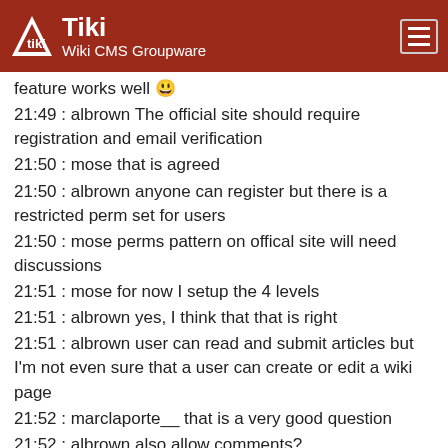Tiki Wiki CMS Groupware
feature works well 😀
21:49 : albrown The official site should require registration and email verification
21:50 : mose that is agreed
21:50 : albrown anyone can register but there is a restricted perm set for users
21:50 : mose perms pattern on offical site will need discussions
21:51 : mose for now I setup the 4 levels
21:51 : albrown yes, I think that that is right
21:51 : albrown user can read and submit articles but I'm not even sure that a user can create or edit a wiki page
21:52 : marclaporte__ that is a very good question
21:52 : albrown also allow comments?
21:52 : mose I think wiki concept is good
21:52 : marclaporte__ comments sure